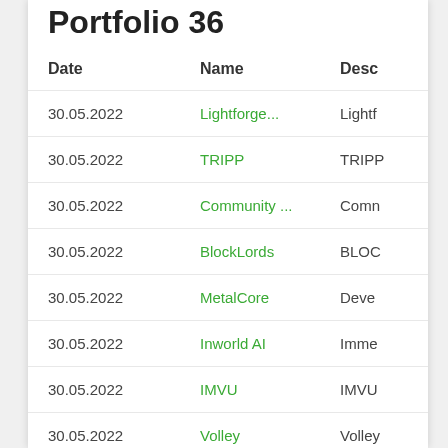Portfolio 36
| Date | Name | Desc |
| --- | --- | --- |
| 30.05.2022 | Lightforge... | Lightf |
| 30.05.2022 | TRIPP | TRIPP |
| 30.05.2022 | Community ... | Comn |
| 30.05.2022 | BlockLords | BLOC |
| 30.05.2022 | MetalCore | Deve |
| 30.05.2022 | Inworld AI | Imme |
| 30.05.2022 | IMVU | IMVU |
| 30.05.2022 | Volley | Volley |